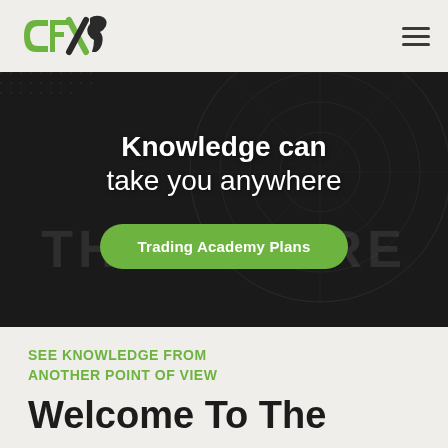[Figure (logo): CFX logo with green horse and letter styling]
[Figure (illustration): Dark hero banner with globe/world map background and watermark text THEREFORE]
Knowledge can take you anywhere
Trading Academy Plans
SEE KNOWLEDGE FROM ANOTHER POINT OF VIEW
Welcome To The